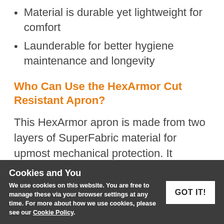Material is durable yet lightweight for comfort
Launderable for better hygiene maintenance and longevity
Who Can Use the HexArmor Cut Resistant Apron?
This HexArmor apron is made from two layers of SuperFabric material for upmost mechanical protection. It provides of well as a sheet metal or fless handling apron multi can also be used in even A industries and sectors:
Cookies and You
We use cookies on this website. You are free to manage these via your browser settings at any time. For more about how we use cookies, please see our Cookie Policy.
GOT IT!